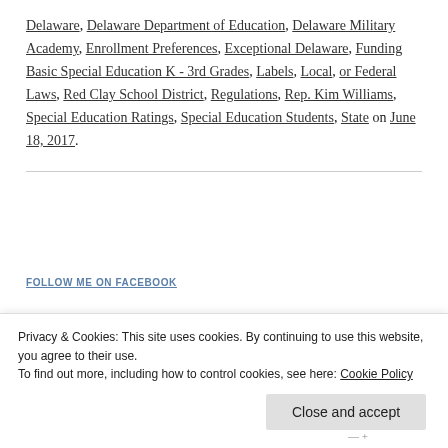Delaware, Delaware Department of Education, Delaware Military Academy, Enrollment Preferences, Exceptional Delaware, Funding Basic Special Education K - 3rd Grades, Labels, Local, or Federal Laws, Red Clay School District, Regulations, Rep. Kim Williams, Special Education Ratings, Special Education Students, State on June 18, 2017.
FOLLOW ME ON FACEBOOK
Privacy & Cookies: This site uses cookies. By continuing to use this website, you agree to their use.
To find out more, including how to control cookies, see here: Cookie Policy